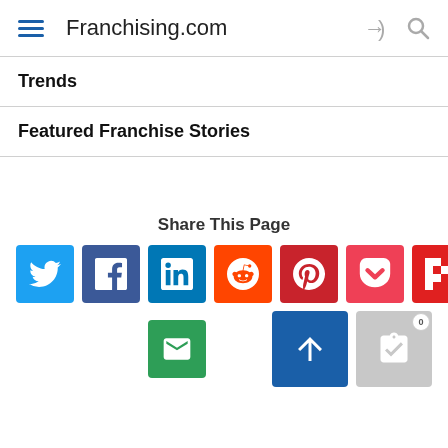Franchising.com
Trends
Featured Franchise Stories
Share This Page
[Figure (other): Social sharing buttons: Twitter, Facebook, LinkedIn, Reddit, Pinterest, Pocket, Flipboard, Email; plus scroll-to-top and list/clipboard buttons]